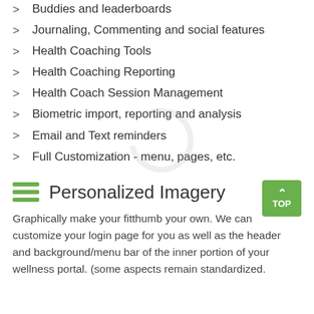Buddies and leaderboards
Journaling, Commenting and social features
Health Coaching Tools
Health Coaching Reporting
Health Coach Session Management
Biometric import, reporting and analysis
Email and Text reminders
Full Customization - menu, pages, etc.
Personalized Imagery
Graphically make your fitthumb your own. We can customize your login page for you as well as the header and background/menu bar of the inner portion of your wellness portal. (some aspects remain standardized.